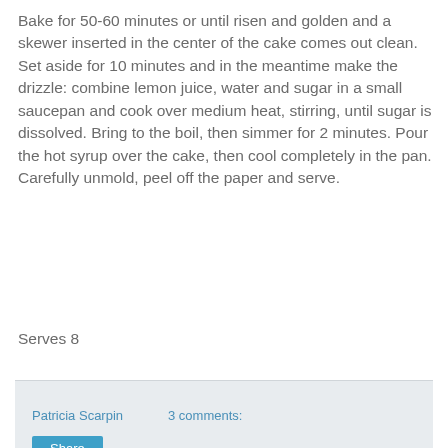Bake for 50-60 minutes or until risen and golden and a skewer inserted in the center of the cake comes out clean. Set aside for 10 minutes and in the meantime make the drizzle: combine lemon juice, water and sugar in a small saucepan and cook over medium heat, stirring, until sugar is dissolved. Bring to the boil, then simmer for 2 minutes. Pour the hot syrup over the cake, then cool completely in the pan. Carefully unmold, peel off the paper and serve.
Serves 8
Patricia Scarpin    3 comments:
Share
Thursday, October 16, 2014
Dark chocolate and dulce de leche puddings